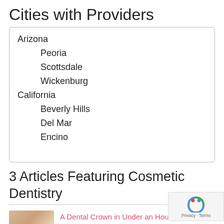Cities with Providers
Arizona
  Peoria
  Scottsdale
  Wickenburg
California
  Beverly Hills
  Del Mar
  Encino
  Fremont...
3 Articles Featuring Cosmetic Dentistry
[Figure (photo): Thumbnail photo of a smiling woman with blonde hair]
A Dental Crown in Under an Hour? Yes, with CEREC
[Figure (photo): Thumbnail photo of a smiling brunette woman]
Build A Beautiful Smile with Porcelain Veneers
[Figure (photo): Thumbnail photo for third article]
CEREC Technology Makes Dental Crowns